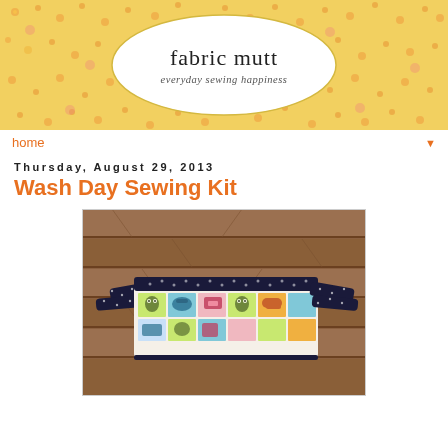fabric mutt — everyday sewing happiness
home
Thursday, August 29, 2013
Wash Day Sewing Kit
[Figure (photo): A handmade fabric sewing kit/pouch lying on a wooden bench. The pouch features colorful fabric with owl and sewing-themed print, trimmed with dark navy blue polka-dot fabric ties on each end.]